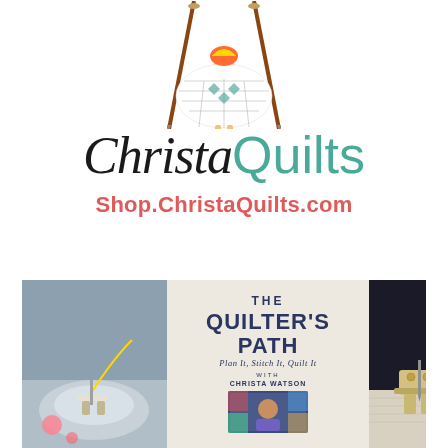[Figure (illustration): Illustration of a quilter figure wearing a patchwork skirt with teal and white diamond pattern, holding quilting needles, shown from torso down]
[Figure (logo): ChristaQuilts logo: 'Christa' in black cursive script followed by 'Quilts' in teal sans-serif font]
Shop.ChristaQuilts.com
[Figure (photo): Collage of three photos: left shows a sewing machine foot close-up, center shows the book cover 'The Quilter's Path: Plan It, Stitch It, Quilt It with Christa Watson', right shows another close-up of sewing machine parts on fabric]